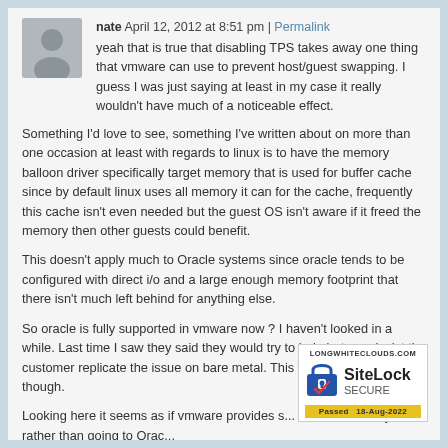nate April 12, 2012 at 8:51 pm | Permalink
yeah that is true that disabling TPS takes away one thing that vmware can use to prevent host/guest swapping. I guess I was just saying at least in my case it really wouldn't have much of a noticeable effect.
Something I'd love to see, something I've written about on more than one occasion at least with regards to linux is to have the memory balloon driver specifically target memory that is used for buffer cache since by default linux uses all memory it can for the cache, frequently this cache isn't even needed but the guest OS isn't aware if it freed the memory then other guests could benefit.
This doesn't apply much to Oracle systems since oracle tends to be configured with direct i/o and a large enough memory footprint that there isn't much left behind for anything else.
So oracle is fully supported in vmware now ? I haven't looked in a while. Last time I saw they said they would try to help but may insist the customer replicate the issue on bare metal. This was a few years ago though.
Looking here it seems as if vmware provides s... Oracle internally so rather than going to Orac...
[Figure (logo): SiteLock SECURE badge with padlock icon, LONGWHITECLOUDS.COM text, and Passed 18-Aug-2022 label]